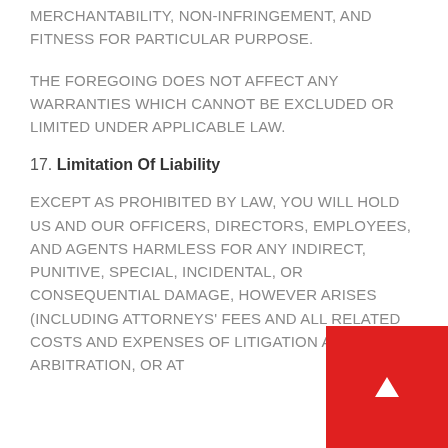MERCHANTABILITY, NON-INFRINGEMENT, AND FITNESS FOR PARTICULAR PURPOSE.
THE FOREGOING DOES NOT AFFECT ANY WARRANTIES WHICH CANNOT BE EXCLUDED OR LIMITED UNDER APPLICABLE LAW.
17. Limitation Of Liability
EXCEPT AS PROHIBITED BY LAW, YOU WILL HOLD US AND OUR OFFICERS, DIRECTORS, EMPLOYEES, AND AGENTS HARMLESS FOR ANY INDIRECT, PUNITIVE, SPECIAL, INCIDENTAL, OR CONSEQUENTIAL DAMAGE, HOWEVER ARISES (INCLUDING ATTORNEYS' FEES AND ALL RELATED COSTS AND EXPENSES OF LITIGATION AND ARBITRATION, OR AT